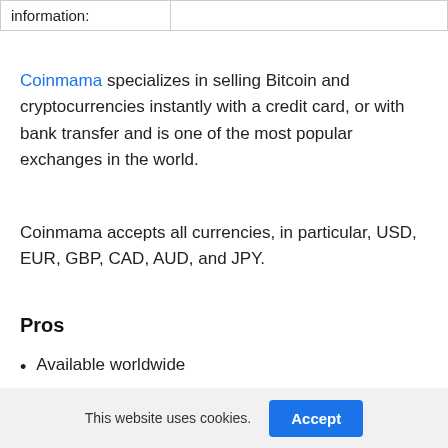|  | information: |
| --- | --- |
Coinmama specializes in selling Bitcoin and cryptocurrencies instantly with a credit card, or with bank transfer and is one of the most popular exchanges in the world.
Coinmama accepts all currencies, in particular, USD, EUR, GBP, CAD, AUD, and JPY.
Pros
Available worldwide
High purchasing limits
This website uses cookies.